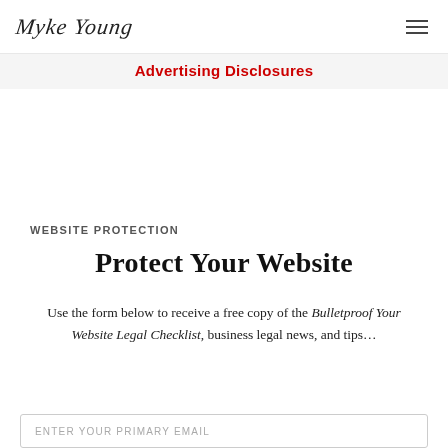Myke Young | Advertising Disclosures
Advertising Disclosures
WEBSITE PROTECTION
Protect Your Website
Use the form below to receive a free copy of the Bulletproof Your Website Legal Checklist, business legal news, and tips…
ENTER YOUR PRIMARY EMAIL